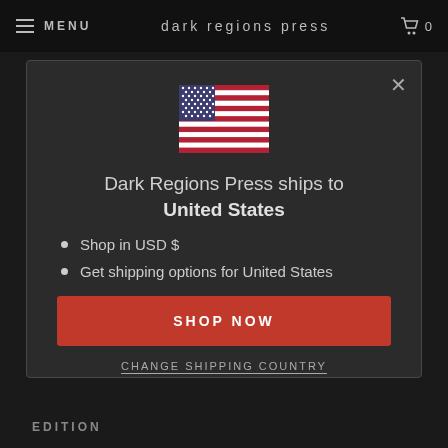MENU  Dark Regions Press  0
[Figure (illustration): US flag icon]
Dark Regions Press ships to United States
Shop in USD $
Get shipping options for United States
SHOP NOW
CHANGE SHIPPING COUNTRY
EDITION